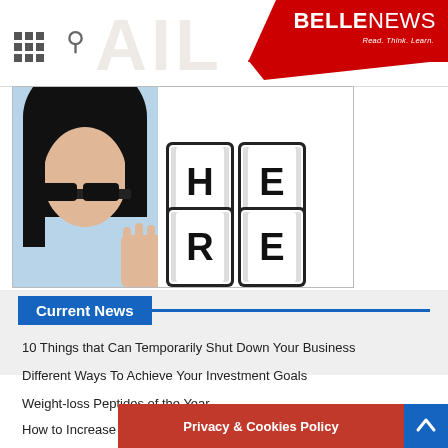BELLENEWS - Read. Think. Learn.
[Figure (photo): Woman peeking from behind dice blocks showing the word HERE in bold letters on a white background]
Current News
10 Things that Can Temporarily Shut Down Your Business
Different Ways To Achieve Your Investment Goals
Weight-loss Peptides of the Year
How to Increase the Level of Serotonin in Your Brain
Privacy & Cookies Policy